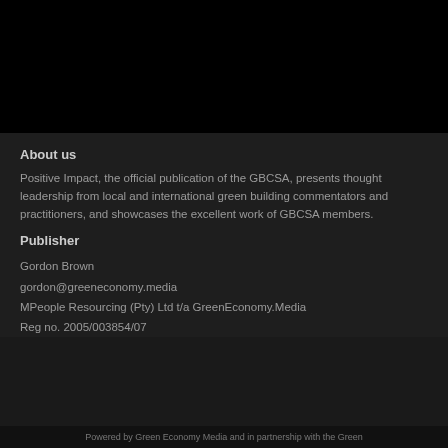[Figure (photo): Black banner/image area at the top of the page]
About us
Positive Impact, the official publication of the GBCSA, presents thought leadership from local and international green building commentators and practitioners, and showcases the excellent work of GBCSA members.
Publisher
Gordon Brown
gordon@greeneconomy.media
MPeople Resourcing (Pty) Ltd t/a GreenEconomy.Media
Reg no. 2005/003854/07
Powered by Green Economy Media and in partnership with the Green